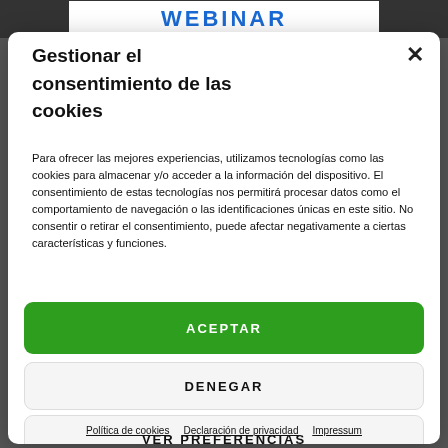[Figure (screenshot): Webinar banner strip at top showing 'WEBINAR' text in blue on white background with a person's image]
Gestionar el consentimiento de las cookies
Para ofrecer las mejores experiencias, utilizamos tecnologías como las cookies para almacenar y/o acceder a la información del dispositivo. El consentimiento de estas tecnologías nos permitirá procesar datos como el comportamiento de navegación o las identificaciones únicas en este sitio. No consentir o retirar el consentimiento, puede afectar negativamente a ciertas características y funciones.
ACEPTAR
DENEGAR
VER PREFERENCIAS
Política de cookies  Declaración de privacidad  Impressum